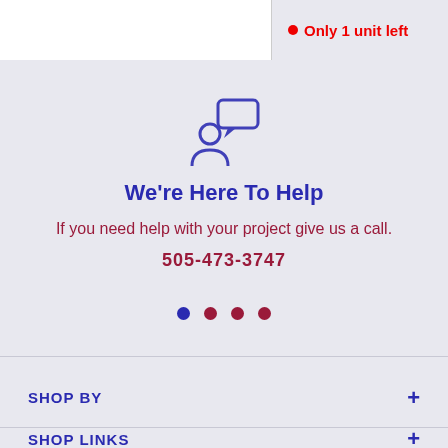Only 1 unit left
[Figure (illustration): Icon of a person with a speech bubble, representing customer support]
We're Here To Help
If you need help with your project give us a call.
505-473-3747
[Figure (other): Navigation dots: one blue (active) followed by three dark red dots]
SHOP BY
SHOP LINKS